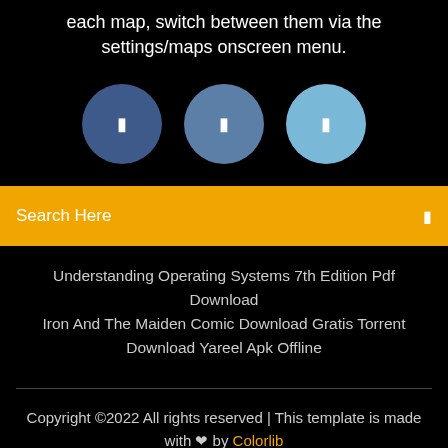each map, switch between them via the settings/maps onscreen menu.
[Figure (illustration): Three circles with pause/info icons: dark blue, medium blue, light blue]
Search Here
Understanding Operating Systems 7th Edition Pdf Download
Iron And The Maiden Comic Download Gratis Torrent
Download Yareel Apk Offline
Copyright ©2022 All rights reserved | This template is made with ♥ by Colorlib